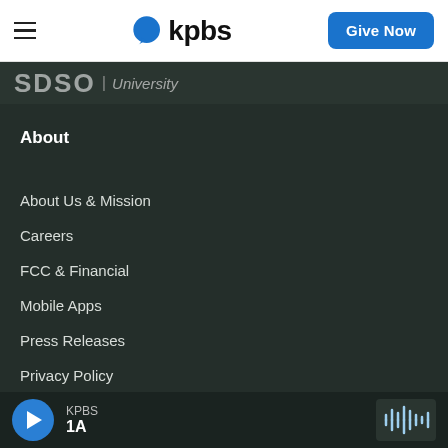KPBS | Give Now
[Figure (logo): KPBS logo with blue speech bubble and bold kpbs text, plus Give Now button]
SDSU | University
About
About Us & Mission
Careers
FCC & Financial
Mobile Apps
Press Releases
Privacy Policy
Staff
KPBS 1A